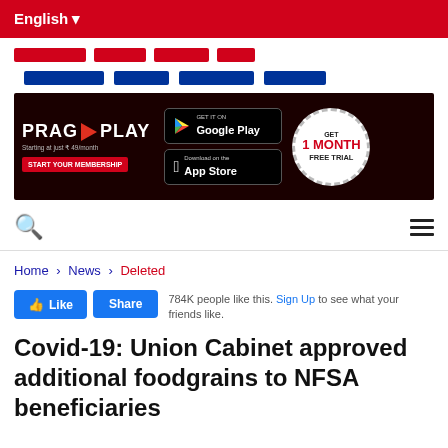English
[Figure (screenshot): Red navigation menu placeholder blocks]
[Figure (screenshot): Blue navigation menu placeholder blocks]
[Figure (screenshot): PRAG PLAY advertisement banner with Google Play and App Store buttons and GET 1 MONTH FREE TRIAL badge]
Search and menu icons row
Home > News > Deleted
784K people like this. Sign Up to see what your friends like.
Covid-19: Union Cabinet approved additional foodgrains to NFSA beneficiaries